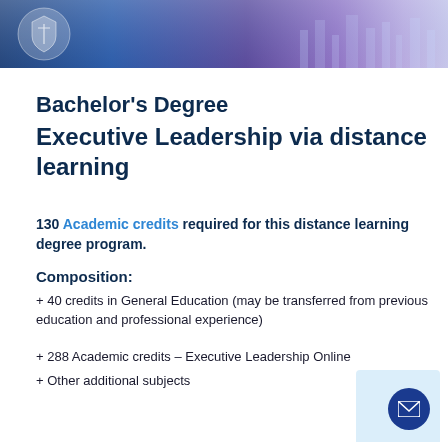[Figure (illustration): University banner header with logo/crest on left and cityscape/technology background image with purple-blue gradient tones]
Bachelor's Degree
Executive Leadership via distance learning
130 Academic credits required for this distance learning degree program.
Composition:
+ 40 credits in General Education (may be transferred from previous education and professional experience)
+ 288 Academic credits – Executive Leadership Online
+ Other additional subjects